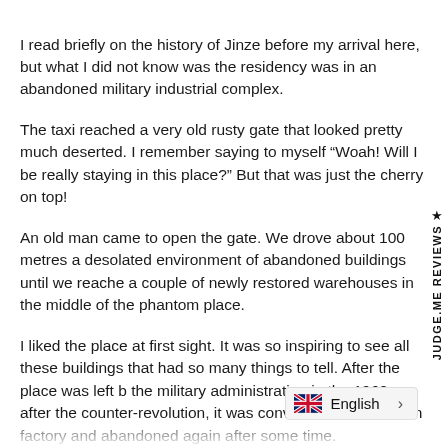I read briefly on the history of Jinze before my arrival here, but what I did not know was the residency was in an abandoned military industrial complex.
The taxi reached a very old rusty gate that looked pretty much deserted. I remember saying to myself “Woah! Will I be really staying in this place?” But that was just the cherry on top!
An old man came to open the gate. We drove about 100 metres a desolated environment of abandoned buildings until we reached a couple of newly restored warehouses in the middle of the phantom place.
I liked the place at first sight. It was so inspiring to see all these buildings that had so many things to tell. After the place was left by the military administration in the 1960s after the counter-revolution, it was converted into a fashion factory and abandoned again after some time.
Today, the only neighbour in the complex is a D an antiques business with amazing pieces from Europe (mainly
[Figure (other): JUDGE.ME REVIEWS sidebar label rotated vertically on right edge with star icon]